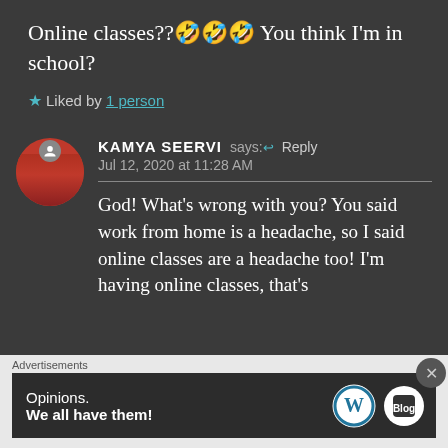Online classes??🤣🤣🤣 You think I'm in school?
★ Liked by 1 person
KAMYA SEERVI says:↩ Reply
Jul 12, 2020 at 11:28 AM
God! What's wrong with you? You said work from home is a headache, so I said online classes are a headache too! I'm having online classes, that's
Advertisements
[Figure (other): WordPress advertisement banner reading 'Opinions. We all have them!' with WordPress and blog logos]